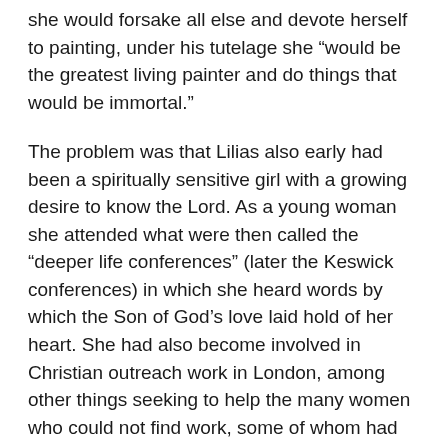she would forsake all else and devote herself to painting, under his tutelage she “would be the greatest living painter and do things that would be immortal.”
The problem was that Lilias also early had been a spiritually sensitive girl with a growing desire to know the Lord. As a young woman she attended what were then called the “deeper life conferences” (later the Keswick conferences) in which she heard words by which the Son of God’s love laid hold of her heart. She had also become involved in Christian outreach work in London, among other things seeking to help the many women who could not find work, some of whom had resorted to selling themselves.
Here was a love, then, that she would have to part ways with if she were to give herself to her art. She loved her